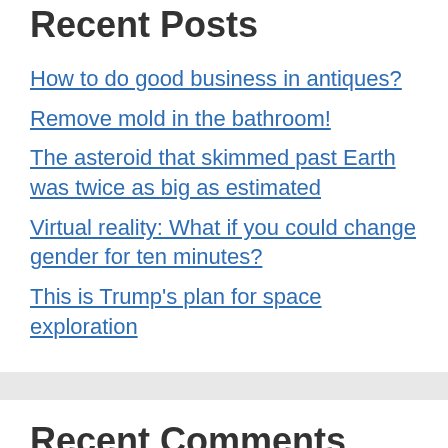Recent Posts
How to do good business in antiques?
Remove mold in the bathroom!
The asteroid that skimmed past Earth was twice as big as estimated
Virtual reality: What if you could change gender for ten minutes?
This is Trump's plan for space exploration
Recent Comments
Aucun commentaire à afficher.